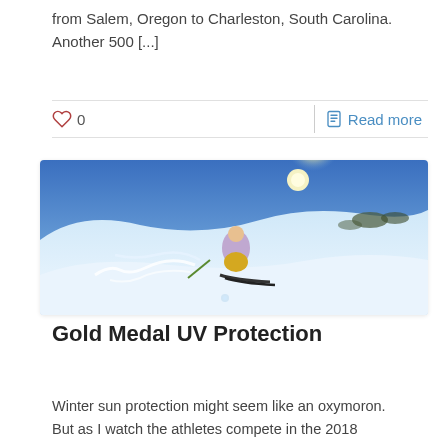from Salem, Oregon to Charleston, South Carolina. Another 500 [...]
[Figure (other): Action bar with heart/like icon showing 0 likes, a vertical divider, and a document icon with 'Read more' link in blue]
[Figure (photo): A skier racing down a snowy mountain slope with bright sunlight and blue sky in the background]
Gold Medal UV Protection
Winter sun protection might seem like an oxymoron. But as I watch the athletes compete in the 2018